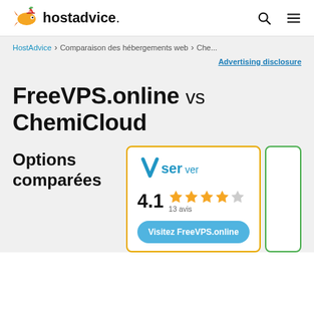hostadvice. [search icon] [menu icon]
HostAdvice > Comparaison des hébergements web > Che...
Advertising disclosure
FreeVPS.online vs ChemiCloud
Options comparées
[Figure (infographic): FreeVPS.online card with vserver logo, rating 4.1 out of 5 stars (13 avis), and 'Visitez FreeVPS.online' button. Partial ChemiCloud card visible at right edge.]